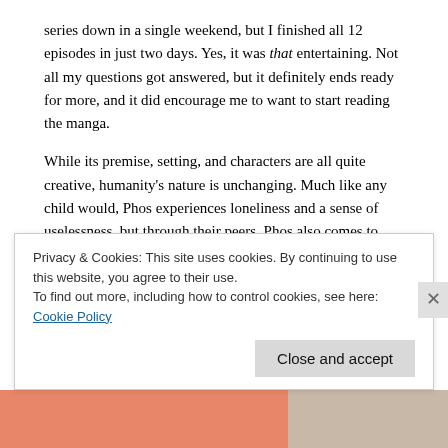series down in a single weekend, but I finished all 12 episodes in just two days. Yes, it was that entertaining. Not all my questions got answered, but it definitely ends ready for more, and it did encourage me to want to start reading the manga.
While its premise, setting, and characters are all quite creative, humanity's nature is unchanging. Much like any child would, Phos experiences loneliness and a sense of uselessness, but through their peers, Phos also comes to understand important values like perseverance, respect, kinship, and the payoff of hard work. They also face the realities of their once thought-to-be fairy-tale world, revealing that life does have its cruelties. The anime's messages are endearing, even if we've already seen them a hundred times, and that's probably thanks to Land of the Lustrous's fantastic set of characters: the 28 Gems that make up this sparkling society.
Privacy & Cookies: This site uses cookies. By continuing to use this website, you agree to their use.
To find out more, including how to control cookies, see here: Cookie Policy